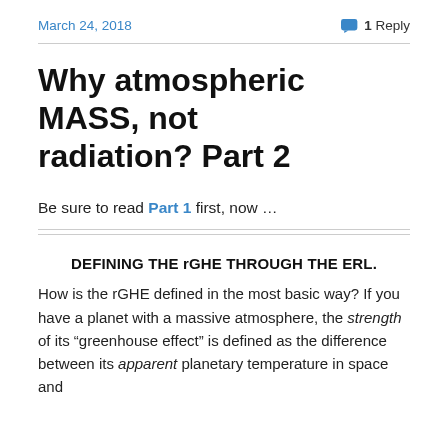March 24, 2018
1 Reply
Why atmospheric MASS, not radiation? Part 2
Be sure to read Part 1 first, now …
DEFINING THE rGHE THROUGH THE ERL.
How is the rGHE defined in the most basic way? If you have a planet with a massive atmosphere, the strength of its “greenhouse effect” is defined as the difference between its apparent planetary temperature in space and